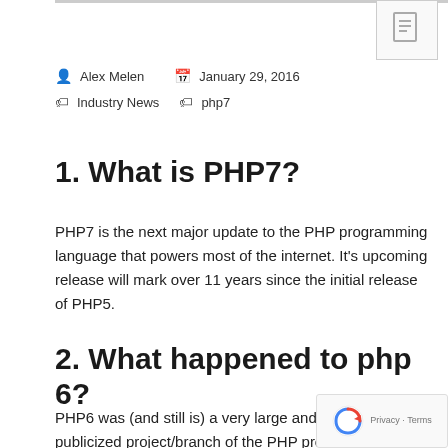Alex Melen  January 29, 2016  Industry News  php7
1. What is PHP7?
PHP7 is the next major update to the PHP programming language that powers most of the internet. It's upcoming release will mark over 11 years since the initial release of PHP5.
2. What happened to php 6?
PHP6 was (and still is) a very large and highly publicized project/branch of the PHP project. It is related to the upcoming PHP7 release, and risked